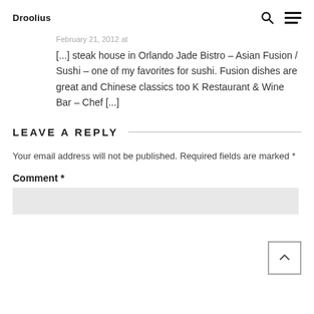Droolius
February 21, 2012 at
[...] steak house in Orlando Jade Bistro – Asian Fusion / Sushi – one of my favorites for sushi. Fusion dishes are great and Chinese classics too K Restaurant & Wine Bar – Chef [...]
LEAVE A REPLY
Your email address will not be published. Required fields are marked *
Comment *